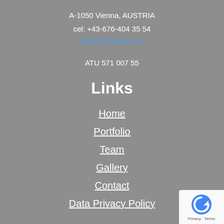A-1050 Vienna, AUSTRIA
cel: +43-676-404 35 54
office@cinewolf.com
ATU 571 007 55
Links
Home
Portfolio
Team
Gallery
Contact
Data Privacy Policy